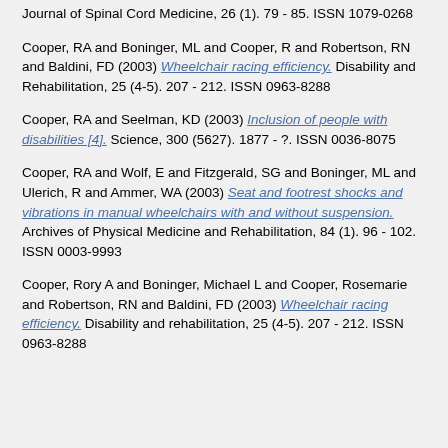Journal of Spinal Cord Medicine, 26 (1). 79 - 85. ISSN 1079-0268
Cooper, RA and Boninger, ML and Cooper, R and Robertson, RN and Baldini, FD (2003) Wheelchair racing efficiency. Disability and Rehabilitation, 25 (4-5). 207 - 212. ISSN 0963-8288
Cooper, RA and Seelman, KD (2003) Inclusion of people with disabilities [4]. Science, 300 (5627). 1877 - ?. ISSN 0036-8075
Cooper, RA and Wolf, E and Fitzgerald, SG and Boninger, ML and Ulerich, R and Ammer, WA (2003) Seat and footrest shocks and vibrations in manual wheelchairs with and without suspension. Archives of Physical Medicine and Rehabilitation, 84 (1). 96 - 102. ISSN 0003-9993
Cooper, Rory A and Boninger, Michael L and Cooper, Rosemarie and Robertson, RN and Baldini, FD (2003) Wheelchair racing efficiency. Disability and rehabilitation, 25 (4-5). 207 - 212. ISSN 0963-8288